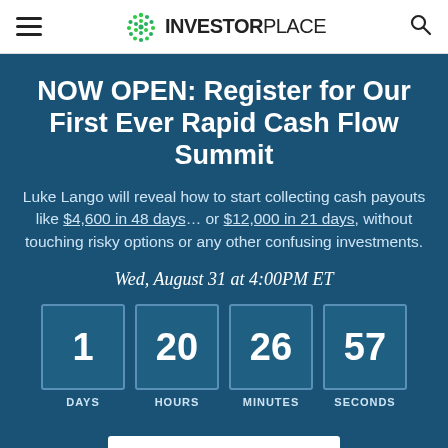INVESTORPLACE
NOW OPEN: Register for Our First Ever Rapid Cash Flow Summit
Luke Lango will reveal how to start collecting cash payouts like $4,600 in 48 days… or $12,000 in 21 days, without touching risky options or any other confusing investments.
Wed, August 31 at 4:00PM ET
[Figure (infographic): Countdown timer showing 1 DAYS, 20 HOURS, 26 MINUTES, 57 SECONDS in blue bordered boxes on dark blue background]